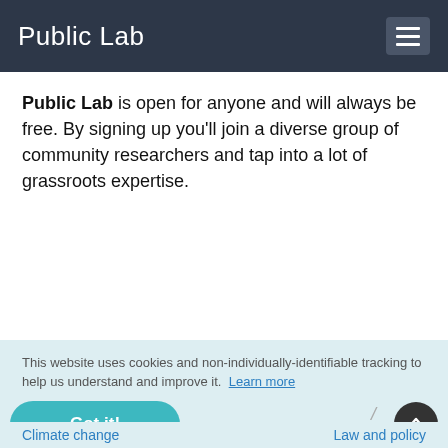Public Lab
Public Lab is open for anyone and will always be free. By signing up you'll join a diverse group of community researchers and tap into a lot of grassroots expertise.
[Figure (other): Blue 'Sign up' button]
This website uses cookies and non-individually-identifiable tracking to help us understand and improve it.  Learn more
[Figure (other): Teal 'Got it!' button and dark scroll-to-top circular button]
Climate change   Law and policy